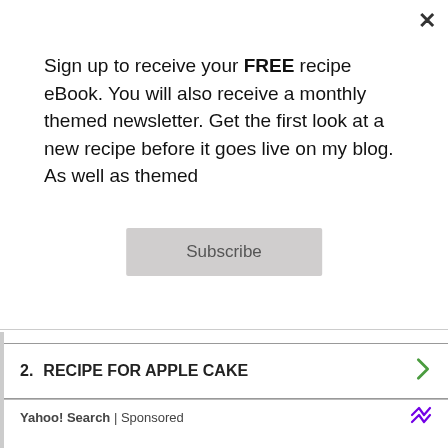Sign up to receive your FREE recipe eBook. You will also receive a monthly themed newsletter. Get the first look at a new recipe before it goes live on my blog. As well as themed
Subscribe
spatula, don't worry is any of the buttercream splodges out the side. Drizzle over your caramel. Repeat until your cake is stacked.
2. Pipe the buttercream onto the top of the cake, again don't worry if it goes over the edges.
3. Using your cake smoother smooth around the sides of the cake. Don't worry if you can see the cake through the buttercream, this is just the
Search for
1.  NEW APPLE DUMP CAKE
2.  RECIPE FOR APPLE CAKE
Yahoo! Search | Sponsored